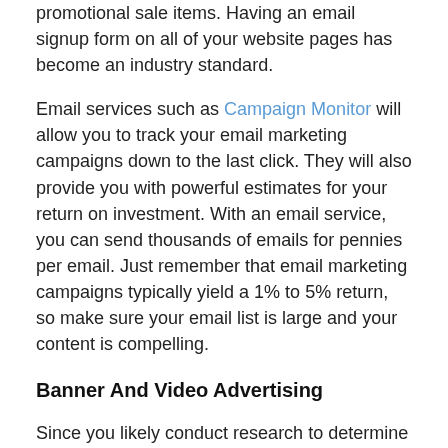promotional sale items. Having an email signup form on all of your website pages has become an industry standard.
Email services such as Campaign Monitor will allow you to track your email marketing campaigns down to the last click. They will also provide you with powerful estimates for your return on investment. With an email service, you can send thousands of emails for pennies per email. Just remember that email marketing campaigns typically yield a 1% to 5% return, so make sure your email list is large and your content is compelling.
Banner And Video Advertising
Since you likely conduct research to determine the